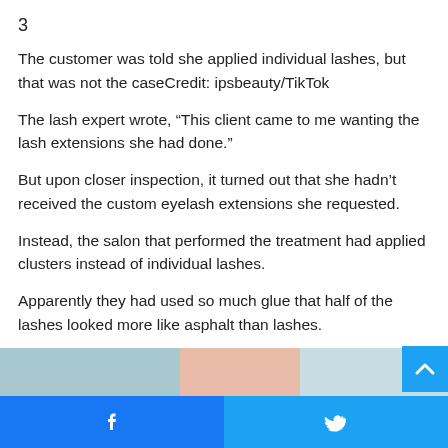3
The customer was told she applied individual lashes, but that was not the caseCredit: ipsbeauty/TikTok
The lash expert wrote, “This client came to me wanting the lash extensions she had done.”
But upon closer inspection, it turned out that she hadn’t received the custom eyelash extensions she requested.
Instead, the salon that performed the treatment had applied clusters instead of individual lashes.
Apparently they had used so much glue that half of the lashes looked more like asphalt than lashes.
[Figure (photo): Partial view of a photo showing what appears to be a close-up of eyelashes or a beauty treatment, cut off at the bottom of the page.]
Facebook share button | Twitter share button